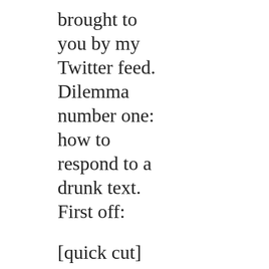brought to you by my Twitter feed. Dilemma number one: how to respond to a drunk text. First off:
[quick cut]
JULIA: [close to the camera, sleep mask pushed